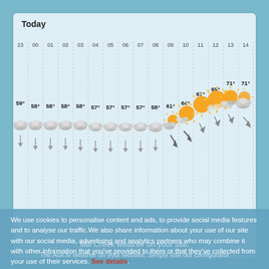Today
[Figure (infographic): Hourly weather forecast chart showing hours 23, 00, 01, 02, 03, 04, 05, 06, 07, 08, 09, 10, 11, 12, 13, 14 with temperatures ranging from 57° to 71°, cloudy icons transitioning to sunny, and wind direction arrows below.]
We use cookies to personalise content and ads, to provide social media features and to analyse our traffic. We also share information about your use of our site with our social media, advertising and analytics partners who may combine it with other information that you've provided to them or that they've collected from your use of their services. See details.
Mill Creek weather on your site.
The Aux.tv weather on your website. Simply visit our configurator